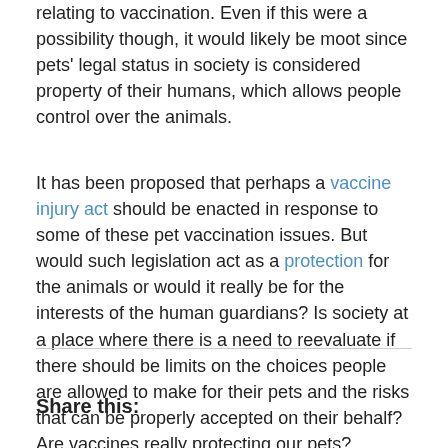relating to vaccination.  Even if this were a possibility though, it would likely be moot since pets' legal status in society is considered property of their humans, which allows people control over the animals.
It has been proposed that perhaps a vaccine injury act should be enacted in response to some of these pet vaccination issues.  But would such legislation act as a protection for the animals or would it really be for the interests of the human guardians?  Is society at a place where there is a need to reevaluate if there should be limits on the choices people are allowed to make for their pets and the risks that can be properly accepted on their behalf?  Are vaccines really protecting our pets?
Share this: